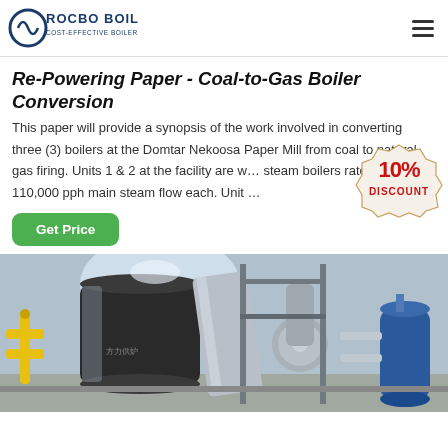ROCBO BOILER - COST-EFFECTIVE BOILER SUPPLIER
Re-Powering Paper - Coal-to-Gas Boiler Conversion
This paper will provide a synopsis of the work involved in converting three (3) boilers at the Domtar Nekoosa Paper Mill from coal to natural gas firing. Units 1 & 2 at the facility are w... steam boilers rated for 110,000 pph main steam flow each. Unit ...
[Figure (other): 10% DISCOUNT badge/stamp overlay on the text]
[Figure (photo): Industrial boiler equipment photo showing gas-fired boiler with yellow gas pipes, silver insulated ducts, cylindrical boiler vessel, and pressure tank in an industrial facility]